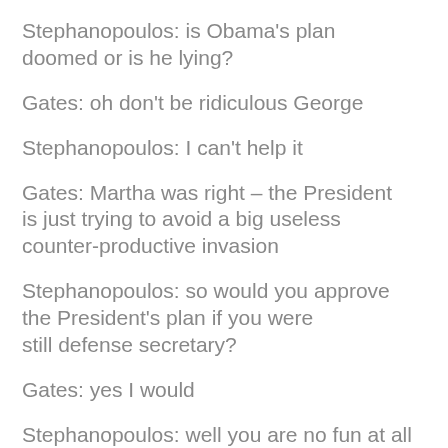Stephanopoulos: is Obama's plan doomed or is he lying?
Gates: oh don't be ridiculous George
Stephanopoulos: I can't help it
Gates: Martha was right – the President is just trying to avoid a big useless counter-productive invasion
Stephanopoulos: so would you approve the President's plan if you were still defense secretary?
Gates: yes I would
Stephanopoulos: well you are no fun at all